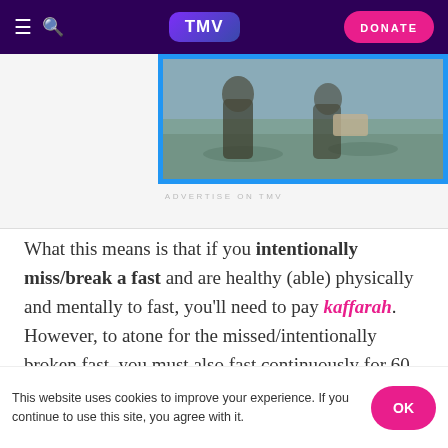TMV — Navigation bar with hamburger menu, search, TMV logo, and DONATE button
[Figure (photo): Advertisement image showing people wading through muddy water, framed with a blue border. Below: 'ADVERTISE ON TMV' label.]
What this means is that if you intentionally miss/break a fast and are healthy (able) physically and mentally to fast, you'll need to pay kaffarah. However, to atone for the missed/intentionally broken fast, you must also fast continuously for 60 days.
If you are unable to do so, then you need to feed 60
This website uses cookies to improve your experience. If you continue to use this site, you agree with it. OK